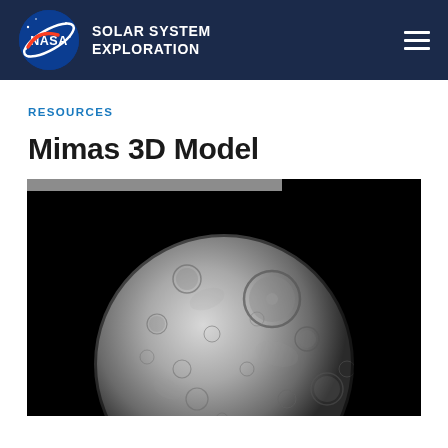NASA SOLAR SYSTEM EXPLORATION
RESOURCES
Mimas 3D Model
[Figure (photo): 3D model render of Mimas, Saturn's moon, showing a heavily cratered gray spherical body against a black background. A gray bar appears at the top of the viewer interface.]